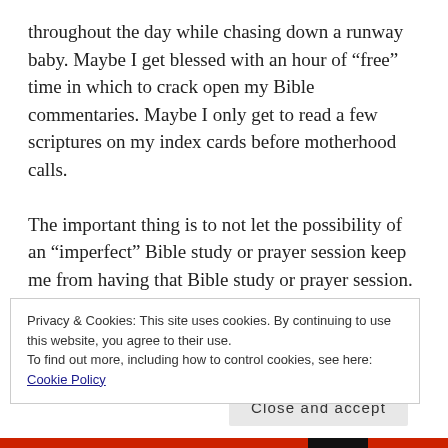throughout the day while chasing down a runway baby. Maybe I get blessed with an hour of “free” time in which to crack open my Bible commentaries. Maybe I only get to read a few scriptures on my index cards before motherhood calls.

The important thing is to not let the possibility of an “imperfect” Bible study or prayer session keep me from having that Bible study or prayer session. God has told me this recently. He told me, “Lindsey, ALL scripture is profitable for you…so even if you only get five minutes,
Privacy & Cookies: This site uses cookies. By continuing to use this website, you agree to their use.
To find out more, including how to control cookies, see here: Cookie Policy
Close and accept